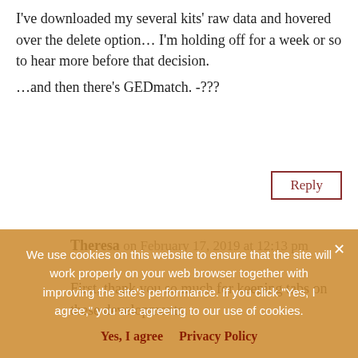I've downloaded my several kits' raw data and hovered over the delete option… I'm holding off for a week or so to hear more before that decision.
…and then there's GEDmatch. -???
Reply
Theresa on February 17, 2019 at 12:13 pm
First, thank you so much for keeping tabs on these developments.
I'm very distressed by the continuing erosion of implicit promises to protect our privacy at these DNA sites. I hope that Ancestry and others do not follow...
We use cookies on this website to ensure that the site will work properly on your web browser together with improving the site's performance. If you click "Yes, I agree," you are agreeing to our use of cookies.
Yes, I agree
Privacy Policy